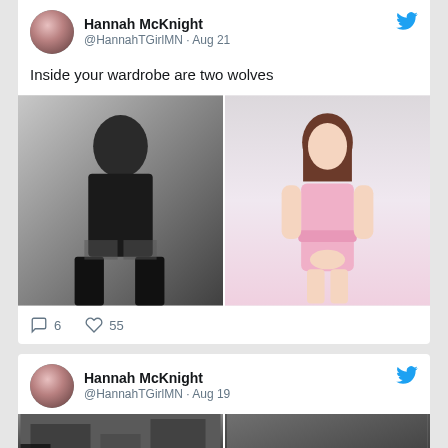[Figure (screenshot): Twitter/social media screenshot showing two tweet cards from user Hannah McKnight (@HannahTGirlMN). First tweet dated Aug 21 reads 'Inside your wardrobe are two wolves' with two side-by-side photos: a black-and-white photo on the left and a color photo on the right. Actions show 6 comments and 55 likes. Second tweet dated Aug 19 with a partial image visible at the bottom.]